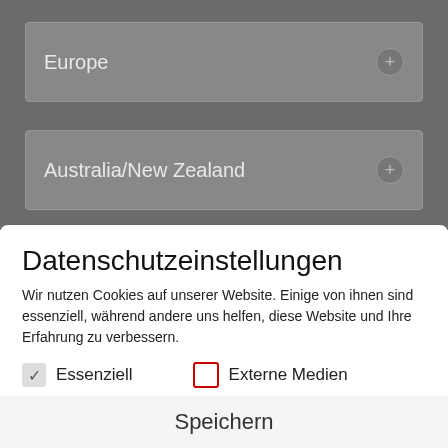[Figure (screenshot): Gray background with two dropdown/accordion boxes: 'Europe' and 'Australia/New Zealand', each with a plus icon on the right.]
Datenschutzeinstellungen
Wir nutzen Cookies auf unserer Website. Einige von ihnen sind essenziell, während andere uns helfen, diese Website und Ihre Erfahrung zu verbessern.
Essenziell (checked)
Externe Medien (unchecked)
Alle akzeptieren
Speichern